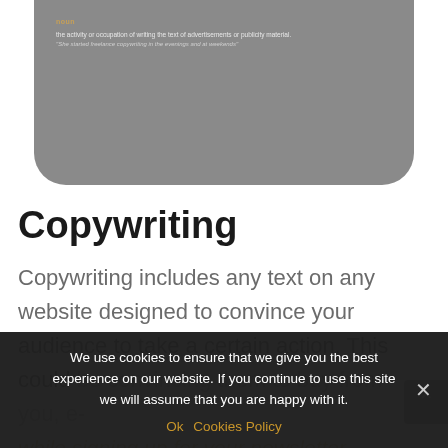[Figure (screenshot): Screenshot of a dictionary definition card on a grey rounded rectangle. Shows 'noun' label in gold/amber, definition text 'the activity or occupation of writing the text of advertisements or publicity material.' and example sentence 'She started freelance copywriting in the evenings and at weekends']
Copywriting
Copywriting includes any text on any website designed to convince your audience to take a certain action. This could be convincing them to buy from you, e-... while signing up for your newsletter.
As a web designer, Adam has a servi...
We use cookies to ensure that we give you the best experience on our website. If you continue to use this site we will assume that you are happy with it.
Ok   Cookies Policy